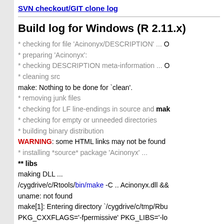SVN checkout/GIT clone log
Build log for Windows (R 2.11.x)
* checking for file 'Acinonyx/DESCRIPTION' ... O
* preparing 'Acinonyx':
* checking DESCRIPTION meta-information ... O
* cleaning src
make: Nothing to be done for `clean'.
* removing junk files
* checking for LF line-endings in source and mak
* checking for empty or unneeded directories
* building binary distribution
WARNING: some HTML links may not be found
* installing *source* package 'Acinonyx' ...
** libs
making DLL ...
/cygdrive/c/Rtools/bin/make -C .. Acinonyx.dll &&
uname: not found
make[1]: Entering directory `/cygdrive/c/tmp/Rbu
PKG_CXXFLAGS='-fpermissive' PKG_LIBS='-lo
lgdi32' PKG_CPPFLAGS=' -IAcinonyx -IAcionyx
c:/PROGRA~1/r/R-211~1.0/bin/R CMD SHLIB -c
Acinonyx/AContainer.cpp Acinonyx/AObject.cpp
Acinonyx/RIF/REngine.cpp Acinonyx/RIF/RGrDe
Win32/AWin32Window.cpp